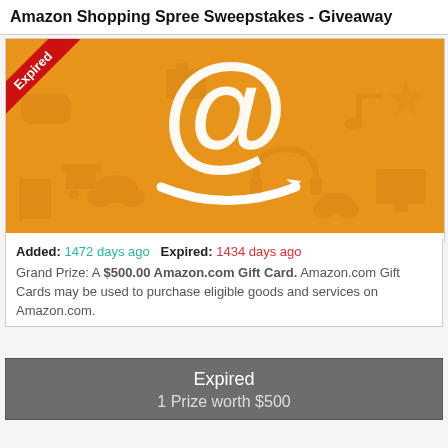Amazon Shopping Spree Sweepstakes - Giveaway
[Figure (photo): Amazon orange banner with large white Amazon 'a' logo and arrow smile mark on an orange background with faint shopping icons pattern. A red 'Expired' ribbon is overlaid in the top-left corner.]
Added: 1472 days ago  Expired: 1434 days ago
Grand Prize: A $500.00 Amazon.com Gift Card. Amazon.com Gift Cards may be used to purchase eligible goods and services on Amazon.com.
Expired
1 Prize worth $500